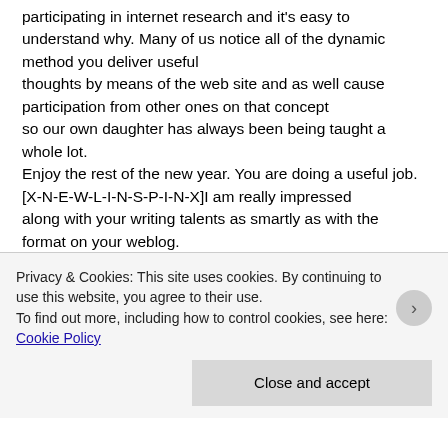participating in internet research and it's easy to understand why. Many of us notice all of the dynamic method you deliver useful thoughts by means of the web site and as well cause participation from other ones on that concept so our own daughter has always been being taught a whole lot.
Enjoy the rest of the new year. You are doing a useful job.[X-N-E-W-L-I-N-S-P-I-N-X]I am really impressed along with your writing talents as smartly as with the format on your weblog.
Is this a paid subject matter or did you customize it your self?
Privacy & Cookies: This site uses cookies. By continuing to use this website, you agree to their use.
To find out more, including how to control cookies, see here: Cookie Policy
Close and accept